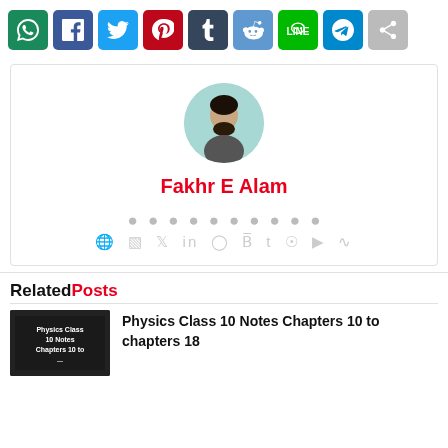[Figure (other): Social share buttons: WhatsApp (teal), Facebook (blue), Twitter (light blue), Pinterest (red), Tumblr (dark blue), Reddit (blue-grey), LINE (green), Telegram (blue), Share (grey)]
[Figure (other): Author card with circular avatar photo of Fakhr E Alam, name in red, and social media icons row]
RelatedPosts
[Figure (photo): Thumbnail image for Physics Class 10 Notes Chapters 10 to chapters 18]
Physics Class 10 Notes Chapters 10 to chapters 18